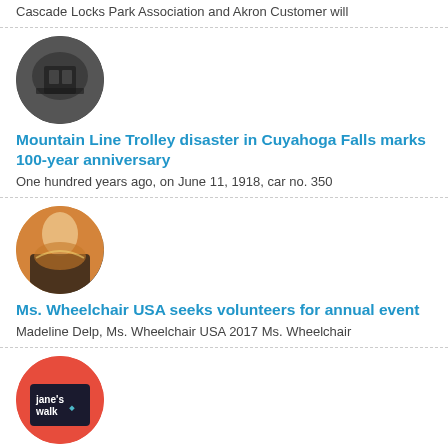Cascade Locks Park Association and Akron Customer will
[Figure (photo): Circular thumbnail photograph showing a dark image of a building or street scene in black and white.]
Mountain Line Trolley disaster in Cuyahoga Falls marks 100-year anniversary
One hundred years ago, on June 11, 1918, car no. 350
[Figure (photo): Circular thumbnail photograph of a smiling woman wearing a sash, possibly a pageant contestant or titleholder.]
Ms. Wheelchair USA seeks volunteers for annual event
Madeline Delp, Ms. Wheelchair USA 2017 Ms. Wheelchair
[Figure (logo): Circular thumbnail showing the Jane's Walk logo on a red background with a dark sign reading 'jane's walk' with a leaf icon.]
'Jane's Walk' features series of citizen-led neighborhood walking tours May ..